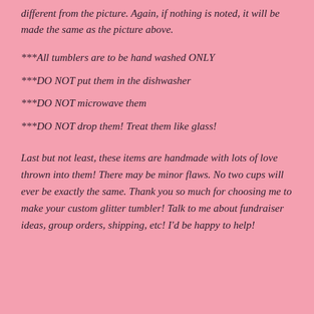different from the picture. Again, if nothing is noted, it will be made the same as the picture above.
***All tumblers are to be hand washed ONLY
***DO NOT put them in the dishwasher
***DO NOT microwave them
***DO NOT drop them! Treat them like glass!
Last but not least, these items are handmade with lots of love thrown into them! There may be minor flaws. No two cups will ever be exactly the same. Thank you so much for choosing me to make your custom glitter tumbler! Talk to me about fundraiser ideas, group orders, shipping, etc! I'd be happy to help!